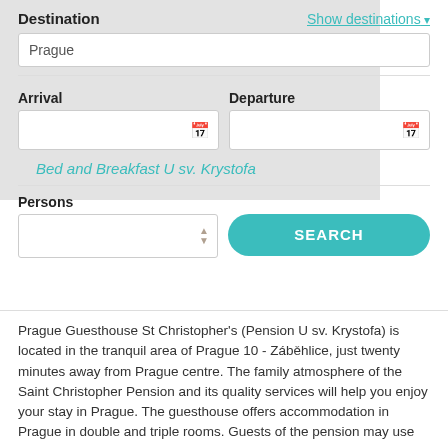Destination
Show destinations
Prague
Arrival
Departure
Bed and Breakfast U sv. Krystofa
Persons
SEARCH
Prague Guesthouse St Christopher's (Pension U sv. Krystofa) is located in the tranquil area of Prague 10 - Záběhlice, just twenty minutes away from Prague centre. The family atmosphere of the Saint Christopher Pension and its quality services will help you enjoy your stay in Prague. The guesthouse offers accommodation in Prague in double and triple rooms. Guests of the pension may use the guesthouse's own car park. The